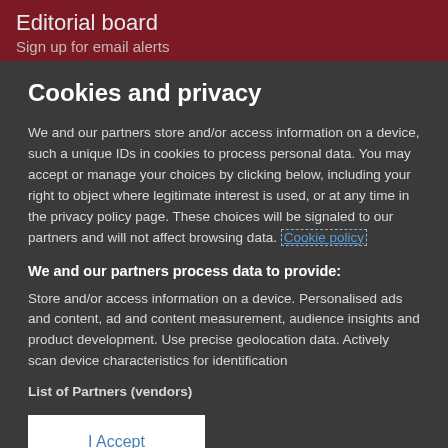Editorial board
Sign up for email alerts
Cookies and privacy
We and our partners store and/or access information on a device, such a unique IDs in cookies to process personal data. You may accept or manage your choices by clicking below, including your right to object where legitimate interest is used, or at any time in the privacy policy page. These choices will be signaled to our partners and will not affect browsing data. Cookie policy
We and our partners process data to provide:
Store and/or access information on a device. Personalised ads and content, ad and content measurement, audience insights and product development. Use precise geolocation data. Actively scan device characteristics for identification
List of Partners (vendors)
I Accept